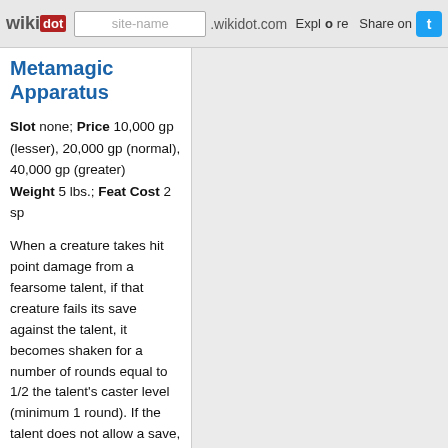wikidot | site-name .wikidot.com | Explore | Share on
Metamagic Apparatus
Slot none; Price 10,000 gp (lesser), 20,000 gp (normal), 40,000 gp (greater) Weight 5 lbs.; Feat Cost 2 sp
When a creature takes hit point damage from a fearsome talent, if that creature fails its save against the talent, it becomes shaken for a number of rounds equal to 1/2 the talent's caster level (minimum 1 round). If the talent does not allow a save, creatures harmed by it can attempt a Will save (against the same DC the